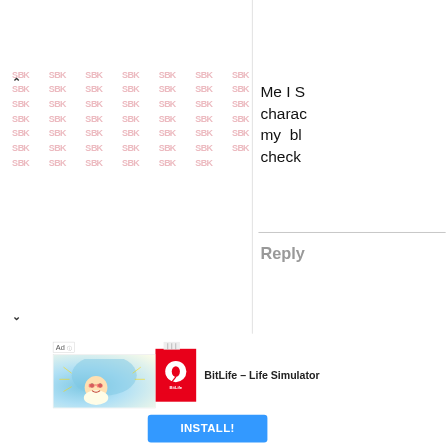[Figure (screenshot): Watermark panel with repeated 'SDK' text in pink/rose color arranged in a grid pattern, with up (^) and down (v) navigation arrows on the left side]
Me I S chara my bl check
Reply
[Figure (infographic): Advertisement banner for BitLife - Life Simulator app. Shows 'Ad' label, a cartoon character image, BitLife red logo icon, app name 'BitLife - Life Simulator', and an INSTALL! button in blue.]